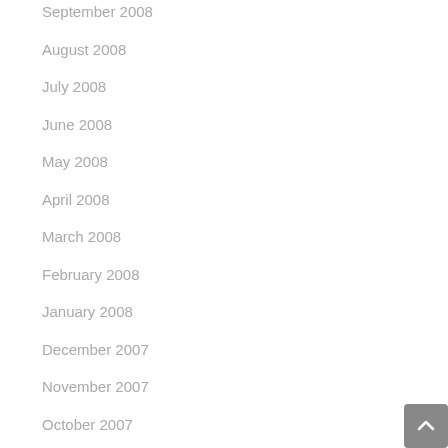September 2008
August 2008
July 2008
June 2008
May 2008
April 2008
March 2008
February 2008
January 2008
December 2007
November 2007
October 2007
September 2007